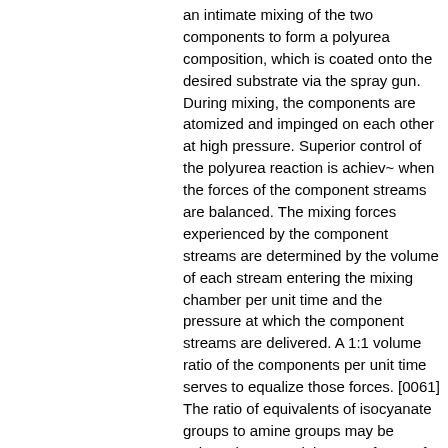an intimate mixing of the two components to form a polyurea composition, which is coated onto the desired substrate via the spray gun. During mixing, the components are atomized and impinged on each other at high pressure. Superior control of the polyurea reaction is achiev~ when the forces of the component streams are balanced. The mixing forces experienced by the component streams are determined by the volume of each stream entering the mixing chamber per unit time and the pressure at which the component streams are delivered. A 1:1 volume ratio of the components per unit time serves to equalize those forces. [0061] The ratio of equivalents of isocyanate groups to amine groups may be selected to control the rate of cure of the polyurea coating composition, thereby affecting adhesion. It has been found that two-component polyurea compositions produced in a 1:1 volume ratio have advantages particularly in curing and adhesion.